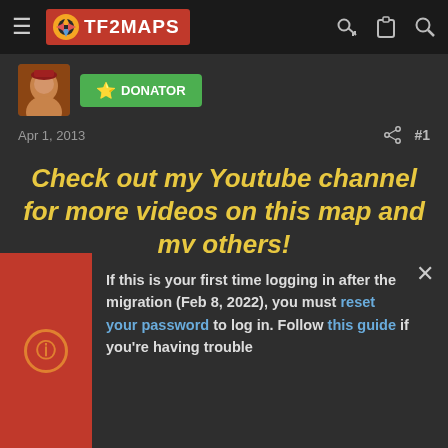TF2MAPS navigation bar
[Figure (screenshot): TF2Maps website header with hamburger menu, TF2Maps logo, key icon, clipboard icon, and search icon]
DONATOR badge with star icon
Apr 1, 2013  #1
Check out my Youtube channel for more videos on this map and my others!
Subscribe on the workshop!
If this is your first time logging in after the migration (Feb 8, 2022), you must reset your password to log in. Follow this guide if you're having trouble